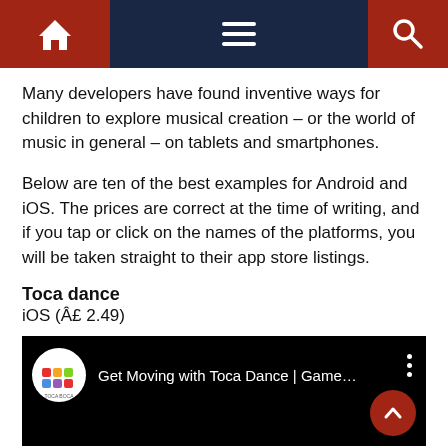Navigation bar with home, menu, and search icons
Many developers have found inventive ways for children to explore musical creation – or the world of music in general – on tablets and smartphones.
Below are ten of the best examples for Android and iOS. The prices are correct at the time of writing, and if you tap or click on the names of the platforms, you will be taken straight to their app store listings.
Toca dance
iOS (Â£ 2.49)
[Figure (screenshot): YouTube video embed showing 'Get Moving with Toca Dance | Game...' with Toca Boca logo on black background, three-dot menu icon, and scroll-to-top button]